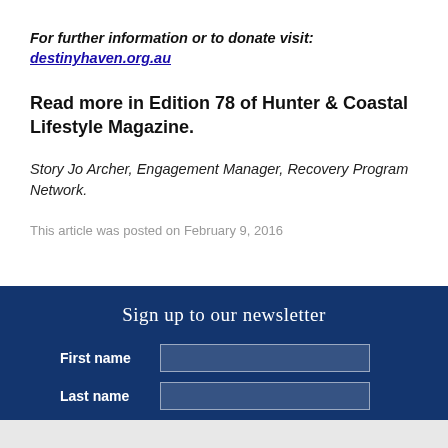For further information or to donate visit: destinyhaven.org.au
Read more in Edition 78 of Hunter & Coastal Lifestyle Magazine.
Story Jo Archer, Engagement Manager, Recovery Program Network.
This article was posted on February 9, 2016
Sign up to our newsletter
First name
Last name